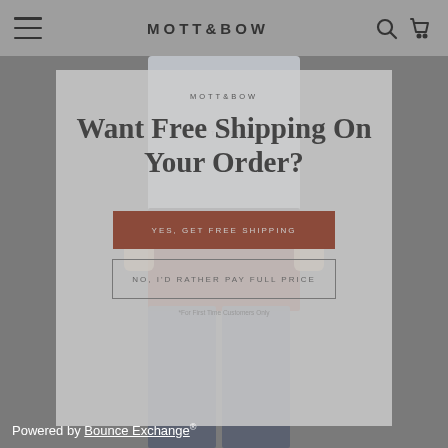MOTT & BOW
[Figure (screenshot): Mott & Bow website screenshot showing a popup modal overlay on a product background. The modal has the brand logo, a headline 'Want Free Shipping On Your Order?', a red/brown CTA button 'YES, GET FREE SHIPPING', and a secondary outlined button 'NO, I'D RATHER PAY FULL PRICE', with footnote 'For First Time Customers Only'.]
Want Free Shipping On Your Order?
YES, GET FREE SHIPPING
NO, I'D RATHER PAY FULL PRICE
*For First Time Customers Only
Powered by Bounce Exchange®